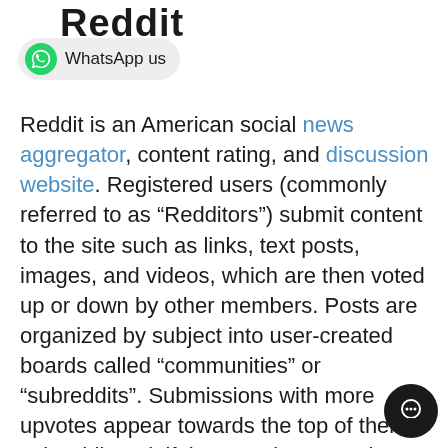Reddit
WhatsApp us
Reddit is an American social news aggregator, content rating, and discussion website. Registered users (commonly referred to as “Redditors”) submit content to the site such as links, text posts, images, and videos, which are then voted up or down by other members. Posts are organized by subject into user-created boards called “communities” or “subreddits”. Submissions with more upvotes appear towards the top of their subreddit and, if they receive enough upvotes, ultimately on the site’s front page. Reddit administrators moderate the communities. Moderation is also conducted by community-specific